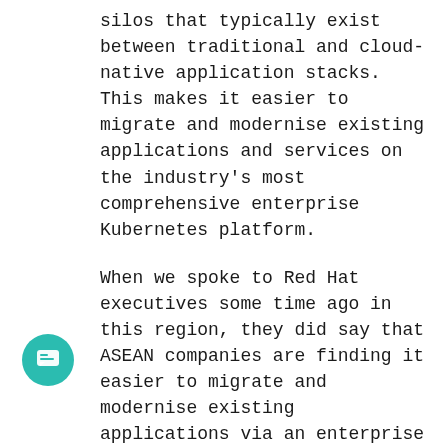silos that typically exist between traditional and cloud-native application stacks. This makes it easier to migrate and modernise existing applications and services on the industry's most comprehensive enterprise Kubernetes platform.
When we spoke to Red Hat executives some time ago in this region, they did say that ASEAN companies are finding it easier to migrate and modernise existing applications via an enterprise Kubernetes platform.
Modernising traditional applications to take advantage of cloud-native advances, like Linux containers, microservices and Kubernetes, is a frequent component of digital transformation. But these efforts can take time, especially if developer and operations teams are building for and maintaining two distinct technology silos. OpenShift virtualisation enables organisations to more effectively deploy DevOps practices by integrating